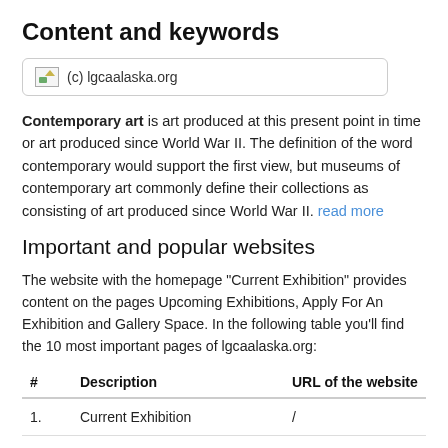Content and keywords
[Figure (photo): Broken image placeholder with (c) lgcaalaska.org label]
Contemporary art is art produced at this present point in time or art produced since World War II. The definition of the word contemporary would support the first view, but museums of contemporary art commonly define their collections as consisting of art produced since World War II. read more
Important and popular websites
The website with the homepage "Current Exhibition" provides content on the pages Upcoming Exhibitions, Apply For An Exhibition and Gallery Space. In the following table you'll find the 10 most important pages of lgcaalaska.org:
| # | Description | URL of the website |
| --- | --- | --- |
| 1. | Current Exhibition | / |
| 2. | Upcoming Exhibitions | /upcoming-exhibitions-1 |